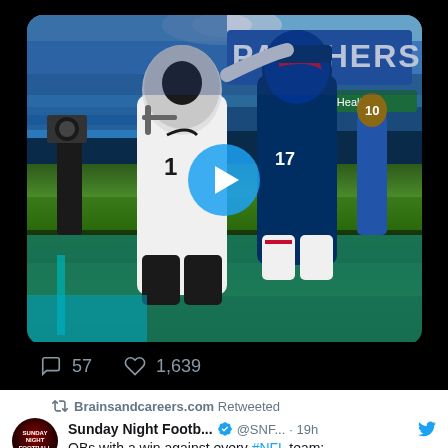[Figure (photo): Two NFL football players (one in Carolina Panthers white uniform, one in Buffalo Bills blue uniform) embracing/greeting each other on the field after a game. A 'PANTHERS' sign is visible in the stadium background. A video play button overlay is shown in the center of the image.]
57  1,639
Brainsandcareers.com Retweeted
Sunday Night Footb... @SNF... · 19h
QBs with a win against every #NFL team: